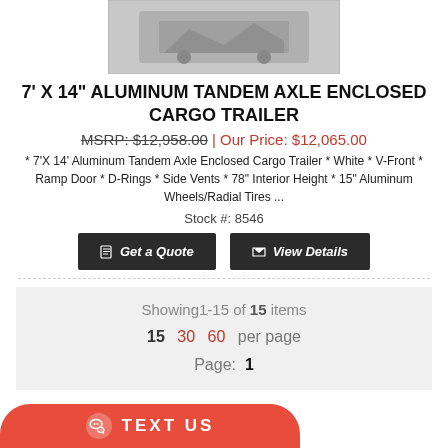[Figure (photo): Product photo of aluminum tandem axle enclosed cargo trailer (greyscale)]
7' X 14" ALUMINUM TANDEM AXLE ENCLOSED CARGO TRAILER
MSRP: $12,958.00 | Our Price: $12,065.00
* 7'X 14' Aluminum Tandem Axle Enclosed Cargo Trailer * White * V-Front * Ramp Door * D-Rings * Side Vents * 78" Interior Height * 15" Aluminum Wheels/Radial Tires ...
Stock #: 8546
Get a Quote | View Details
Showing1-15 of 15 items
15 30 60 per page
Page: 1
TEXT US